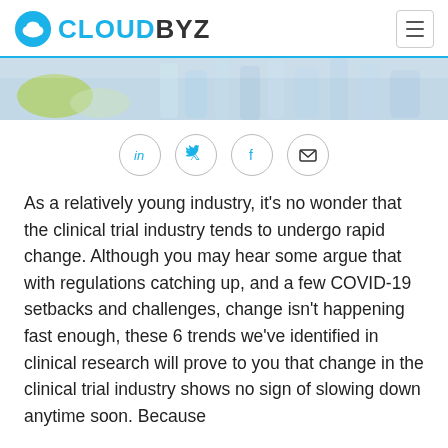CLOUDBYZ
[Figure (photo): Laboratory glassware and equipment, including petri dishes and flasks, in a clinical/scientific setting.]
As a relatively young industry, it's no wonder that the clinical trial industry tends to undergo rapid change. Although you may hear some argue that with regulations catching up, and a few COVID-19 setbacks and challenges, change isn't happening fast enough, these 6 trends we've identified in clinical research will prove to you that change in the clinical trial industry shows no sign of slowing down anytime soon. Because